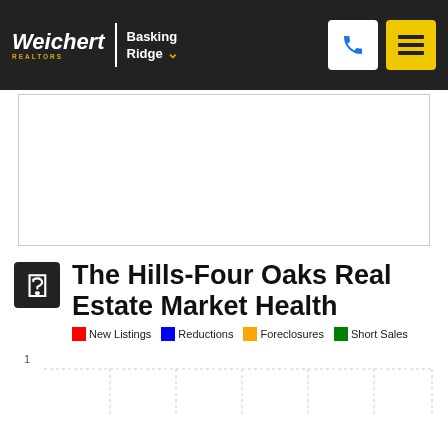[Figure (logo): Weichert Realtors Basking Ridge logo with navigation header including phone and menu icons]
[Figure (other): White content area placeholder (map or chart area)]
The Hills-Four Oaks Real Estate Market Health
New Listings | Reductions | Foreclosures | Short Sales
[Figure (line-chart): Partial line chart showing market health data with y-axis label of 1 visible at bottom]